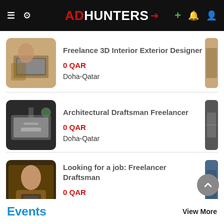ADHUNTERS
Freelance 3D Interior Exterior Designer
0 QAR
Doha-Qatar
Architectural Draftsman Freelancer
0 QAR
Doha-Qatar
Looking for a job: Freelancer Draftsman
0 QAR
Doha-Qatar
Events
View More